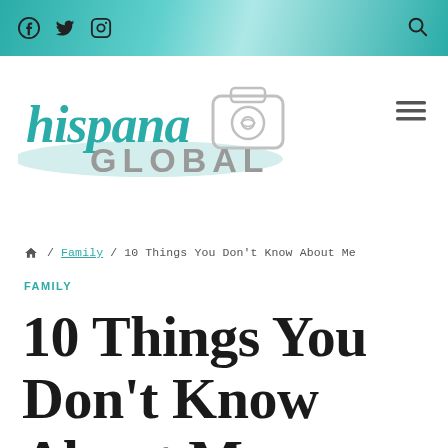Social icons: Facebook, Twitter, Instagram | Search icon
[Figure (logo): Hispana Global logo — cursive teal 'hispana' text with a camera icon and gray 'GLOBAL' text below on a teal brushstroke background]
🏠 / Family / 10 Things You Don't Know About Me
FAMILY
10 Things You Don't Know About Me